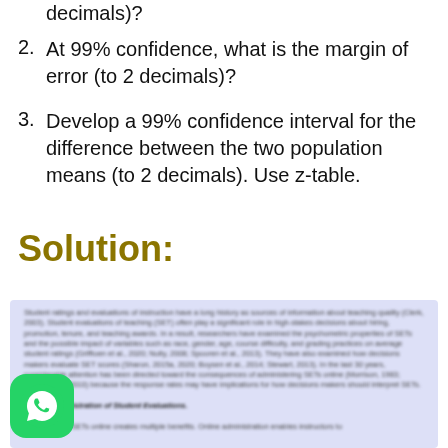decimals)?
2. At 99% confidence, what is the margin of error (to 2 decimals)?
3. Develop a 99% confidence interval for the difference between the two population means (to 2 decimals). Use z-table.
Solution:
[Figure (screenshot): Blurred/low-resolution excerpt of a research paper discussing student ratings and evaluations of instruction, with a bold italic subheading 'Online Administration of Student Evaluations' and body text about teaching quality, hiring, promotion, tenure, and related topics.]